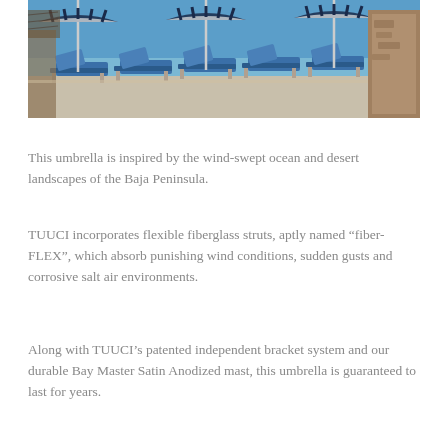[Figure (photo): Outdoor poolside lounge chairs with blue and white striped canopy umbrellas against a blue sky, with rocky landscape in the background.]
This umbrella is inspired by the wind-swept ocean and desert landscapes of the Baja Peninsula.
TUUCI incorporates flexible fiberglass struts, aptly named “fiber-FLEX”, which absorb punishing wind conditions, sudden gusts and corrosive salt air environments.
Along with TUUCI’s patented independent bracket system and our durable Bay Master Satin Anodized mast, this umbrella is guaranteed to last for years.